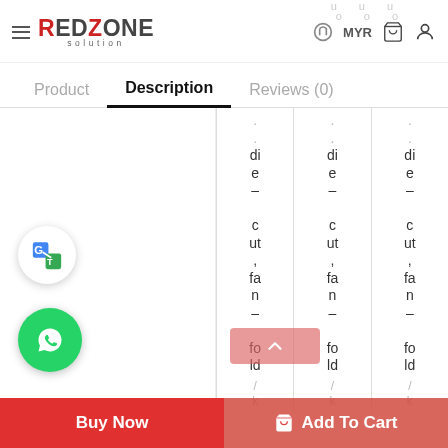RedZone Solution — Product | Description | Reviews (0)
die-cut, fan-fold (repeated in three columns, partially visible)
[Figure (logo): Google Translate floating button icon]
[Figure (logo): WhatsApp floating button icon (green circle)]
[Figure (other): Scroll-to-top pink/red button with upward chevron]
Buy Now | Add To Cart